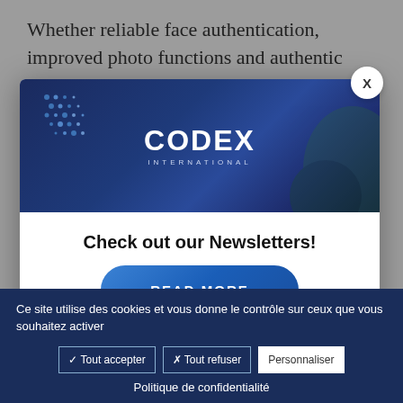Whether reliable face authentication, improved photo functions and authentic augmented
[Figure (screenshot): Modal popup with Codex International banner showing newsletter subscription call-to-action with READ MORE button]
Check out our Newsletters!
READ MORE
Subscribe to our newsle
Subscribe
Ce site utilise des cookies et vous donne le contrôle sur ceux que vous souhaitez activer
✓ Tout accepter
✗ Tout refuser
Personnaliser
Politique de confidentialité